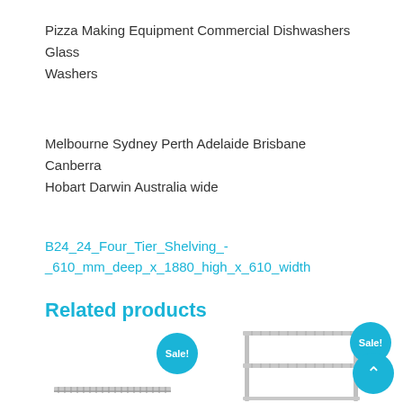Pizza Making Equipment Commercial Dishwashers Glass Washers
Melbourne Sydney Perth Adelaide Brisbane Canberra Hobart Darwin Australia wide
B24_24_Four_Tier_Shelving_-_610_mm_deep_x_1880_high_x_610_width
Related products
[Figure (photo): Product photo of shelving unit with sale badge]
[Figure (photo): Product photo of shelving unit with sale badge]